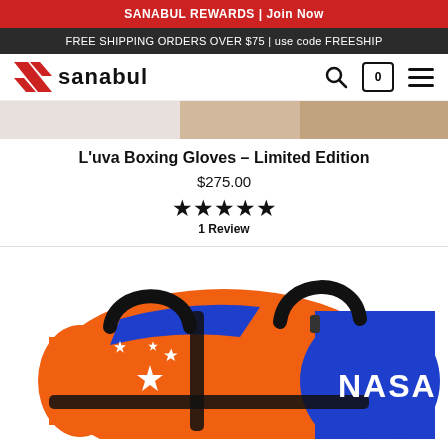SANABUL REWARDS | Join Now
FREE SHIPPING ORDERS OVER $75 | use code FREESHIP
SANABUL logo and navigation
[Figure (photo): Partial view of boxing gloves product photo]
L'uva Boxing Gloves - Limited Edition
$275.00
★★★★★ 1 Review
[Figure (photo): Orange and blue NASA-branded duffel bag with black handles and straps, white NASA worm logo on blue side pocket, white star sparkle design on orange body]